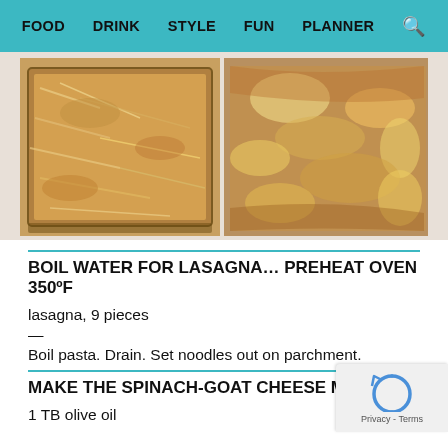FOOD  DRINK  STYLE  FUN  PLANNER
[Figure (photo): Two side-by-side photos of lasagna in baking dishes, one before baking showing shredded cheese topping, one after baking with melted golden-brown cheese.]
BOIL WATER FOR LASAGNA… PREHEAT OVEN 350ºF
lasagna, 9 pieces
—
Boil pasta. Drain. Set noodles out on parchment.
MAKE THE SPINACH-GOAT CHEESE MIX
1 TB olive oil